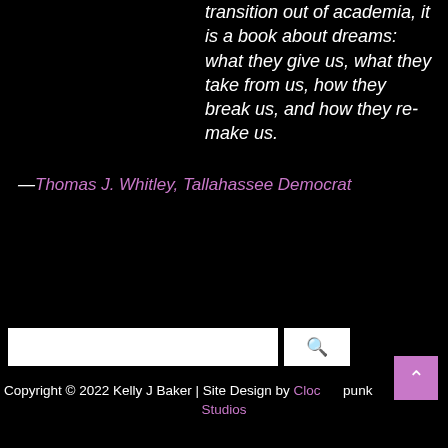transition out of academia, it is a book about dreams: what they give us, what they take from us, how they break us, and how they re-make us.
—Thomas J. Whitley, Tallahassee Democrat
Copyright © 2022 Kelly J Baker | Site Design by Clockpunk Studios